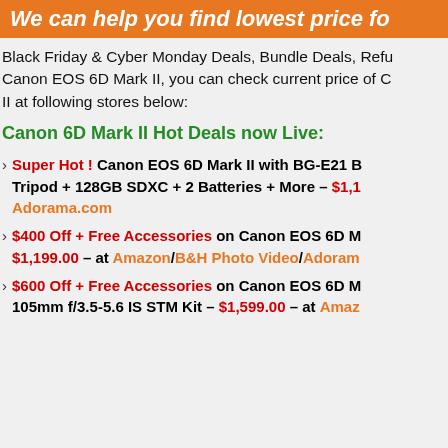We can help you find lowest price fo...
Black Friday & Cyber Monday Deals, Bundle Deals, Refu... Canon EOS 6D Mark II, you can check current price of C... II at following stores below:
Canon 6D Mark II Hot Deals now Live:
Super Hot ! Canon EOS 6D Mark II with BG-E21 B... Tripod + 128GB SDXC + 2 Batteries + More – $1,1... Adorama.com
$400 Off + Free Accessories on Canon EOS 6D M... $1,199.00 – at Amazon/B&H Photo Video/Adoram...
$600 Off + Free Accessories on Canon EOS 6D M... 105mm f/3.5-5.6 IS STM Kit – $1,599.00 – at Amaz...